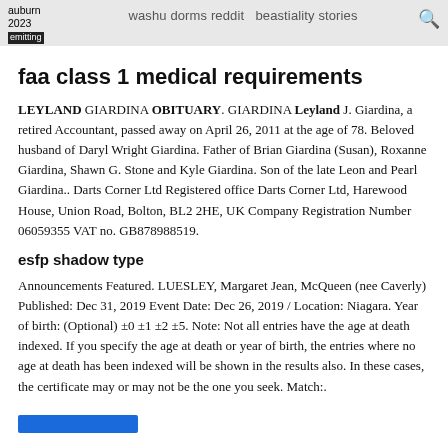auburn 2023 emitting | washu dorms reddit | beastiality stories 🔍
faa class 1 medical requirements
LEYLAND GIARDINA OBITUARY. GIARDINA Leyland J. Giardina, a retired Accountant, passed away on April 26, 2011 at the age of 78. Beloved husband of Daryl Wright Giardina. Father of Brian Giardina (Susan), Roxanne Giardina, Shawn G. Stone and Kyle Giardina. Son of the late Leon and Pearl Giardina.. Darts Corner Ltd Registered office Darts Corner Ltd, Harewood House, Union Road, Bolton, BL2 2HE, UK Company Registration Number 06059355 VAT no. GB878988519.
esfp shadow type
Announcements Featured. LUESLEY, Margaret Jean, McQueen (nee Caverly) Published: Dec 31, 2019 Event Date: Dec 26, 2019 / Location: Niagara. Year of birth: (Optional) ±0 ±1 ±2 ±5. Note: Not all entries have the age at death indexed. If you specify the age at death or year of birth, the entries where no age at death has been indexed will be shown in the results also. In these cases, the certificate may or may not be the one you seek. Match:.